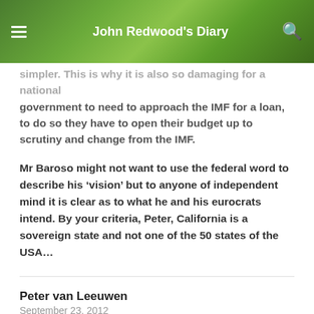John Redwood's Diary
simpler. This is why it is also so damaging for a national government to need to approach the IMF for a loan, to do so they have to open their budget up to scrutiny and change from the IMF.
Mr Baroso might not want to use the federal word to describe his ‘vision’ but to anyone of independent mind it is clear as to what he and his eurocrats intend. By your criteria, Peter, California is a sovereign state and not one of the 50 states of the USA…
Peter van Leeuwen
September 23, 2012
Thank you Jerry, and by your criteria the Netherlands lost its